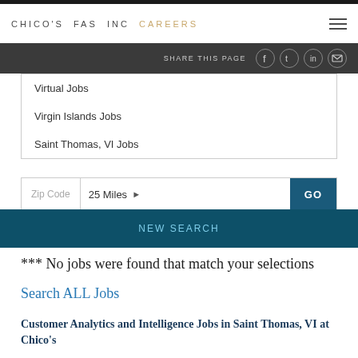CHICO'S FAS INC CAREERS
SHARE THIS PAGE
Virtual Jobs
Virgin Islands Jobs
Saint Thomas, VI Jobs
Zip Code  25 Miles  GO
NEW SEARCH
*** No jobs were found that match your selections
Search ALL Jobs
Customer Analytics and Intelligence Jobs in Saint Thomas, VI at Chico's